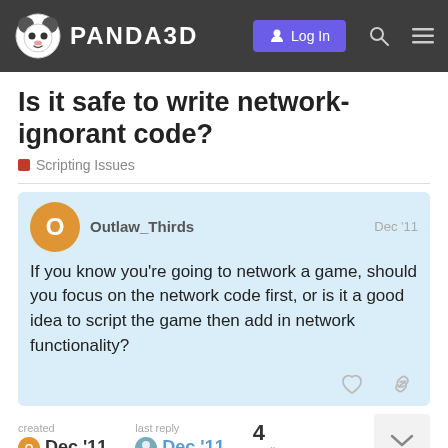PANDA3D — Log In
Is it safe to write network-ignorant code?
Scripting Issues
Outlaw_Thirds — Dec '11
If you know you're going to network a game, should you focus on the network code first, or is it a good idea to script the game then add in network functionality?
created Dec '11  last reply Dec '11  4 replies
1 / 5